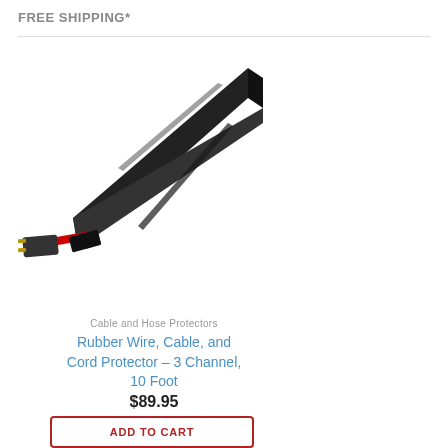FREE SHIPPING*
[Figure (photo): Black rubber cable and cord protector with 3 channels, showing a red cable and black power plug emerging from one end of the protector.]
Cable and Hose Protectors
Rubber Wire, Cable, and Cord Protector – 3 Channel, 10 Foot
$89.95
ADD TO CART